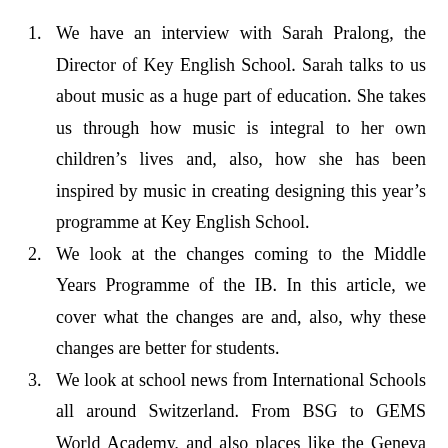We have an interview with Sarah Pralong, the Director of Key English School. Sarah talks to us about music as a huge part of education. She takes us through how music is integral to her own children’s lives and, also, how she has been inspired by music in creating designing this year’s programme at Key English School.
We look at the changes coming to the Middle Years Programme of the IB. In this article, we cover what the changes are and, also, why these changes are better for students.
We look at school news from International Schools all around Switzerland. From BSG to GEMS World Academy, and also places like the Geneva English School, we’ve got news hot off the presses.